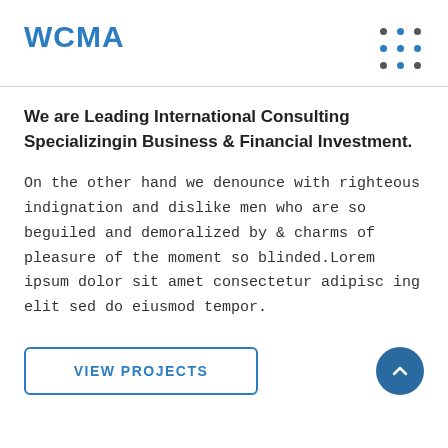[Figure (logo): WCMA logo in blue bold text]
[Figure (other): 3x3 grid of dots navigation icon, alternating dark and blue dots]
We are Leading International Consulting Specializingin Business & Financial Investment.
On the other hand we denounce with righteous indignation and dislike men who are so beguiled and demoralized by & charms of pleasure of the moment so blinded.Lorem ipsum dolor sit amet consectetur adipisc ing elit sed do eiusmod tempor.
VIEW PROJECTS